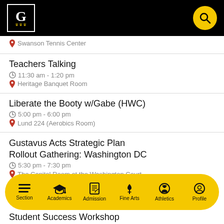Gustavus Adolphus College header with logo and search
Swanson Tennis Center
Teachers Talking — 11:30 am - 1:20 pm — Heritage Banquet Room
Liberate the Booty w/Gabe (HWC) — 5:00 pm - 6:00 pm — Lund 224 (Aerobics Room)
Gustavus Acts Strategic Plan Rollout Gathering: Washington DC — 5:30 pm - 7:30 pm — The Capitol Room at the Washington Court
Section | Academics | Admission | Fine Arts | Athletics | Profile
Student Success Workshop